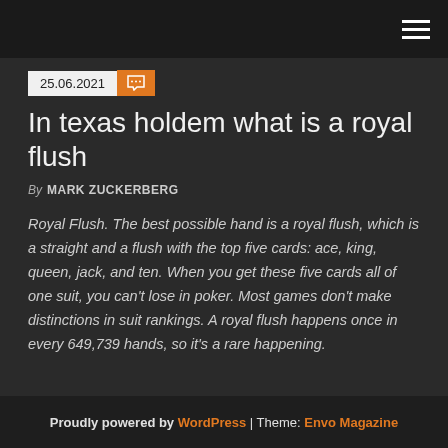25.06.2021
In texas holdem what is a royal flush
By MARK ZUCKERBERG
Royal Flush. The best possible hand is a royal flush, which is a straight and a flush with the top five cards: ace, king, queen, jack, and ten. When you get these five cards all of one suit, you can’t lose in poker. Most games don’t make distinctions in suit rankings. A royal flush happens once in every 649,739 hands, so it’s a rare happening.
Proudly powered by WordPress | Theme: Envo Magazine